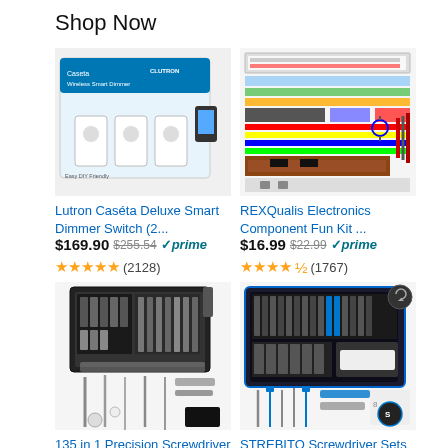Shop Now
[Figure (photo): Lutron Caséta Deluxe Smart Dimmer Switch product image showing box and switch accessories]
Lutron Caséta Deluxe Smart Dimmer Switch (2...
$169.90  $255.54  ✓prime
★★★★★ (2128)
[Figure (photo): REXQualis Electronics Component Fun Kit showing various electronic components laid out]
REXQualis Electronics Component Fun Kit ...
$16.99  $22.99  ✓prime
★★★★★ (1767)
[Figure (photo): 135 in 1 Precision Screwdriver Set product image showing case open with bits]
135 in 1 Precision Screwdriver Set, Co...
[Figure (photo): STREBITO Screwdriver Sets 142-Piece product image showing blue case open with tools]
STREBITO Screwdriver Sets 142-Piece Electro...